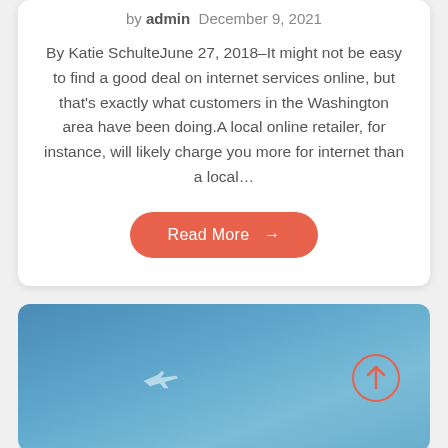by admin  December 9, 2021
By Katie SchulteJune 27, 2018–It might not be easy to find a good deal on internet services online, but that's exactly what customers in the Washington area have been doing.A local online retailer, for instance, will likely charge you more for internet than a local...
[Figure (other): Read More button with arrow, orange/red rounded rectangle]
[Figure (photo): Photo of a blue sky with a small airplane silhouette in the center-left area, and a red-outlined circle with an upward arrow icon on the right side]